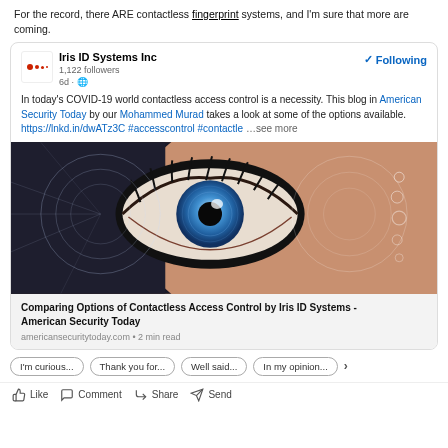For the record, there ARE contactless fingerprint systems, and I'm sure that more are coming.
Iris ID Systems Inc
1,122 followers
6d · Following
In today's COVID-19 world contactless access control is a necessity. This blog in American Security Today by our Mohammed Murad takes a look at some of the options available. https://lnkd.in/dwATz3C #accesscontrol #contactle ...see more
[Figure (photo): Close-up photo of a human eye with a blue iris overlaid with futuristic circular scanning/iris recognition technology graphics]
Comparing Options of Contactless Access Control by Iris ID Systems - American Security Today
americansecuritytoday.com • 2 min read
I'm curious...   Thank you for...   Well said...   In my opinion...
Like   Comment   Share   Send